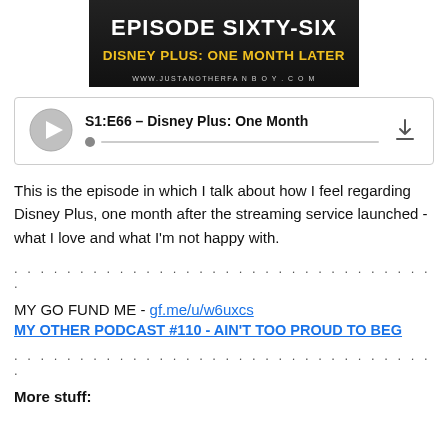[Figure (screenshot): Podcast episode image with black background reading 'EPISODE SIXTY-SIX' in white bold text and 'DISNEY PLUS: ONE MONTH LATER' in yellow bold text, with website URL www.justanotherFANBOY.com at the bottom]
[Figure (screenshot): Podcast audio player widget showing 'S1:E66 – Disney Plus: One Month' with play button, progress bar, and download icon]
This is the episode in which I talk about how I feel regarding Disney Plus, one month after the streaming service launched - what I love and what I'm not happy with.
. . . . . . . . . . . . . . . . . . . . . . . . . . . . . . . . .
MY GO FUND ME - gf.me/u/w6uxcs
MY OTHER PODCAST #110 - AIN'T TOO PROUD TO BEG
. . . . . . . . . . . . . . . . . . . . . . . . . . . . . . . . .
More stuff: